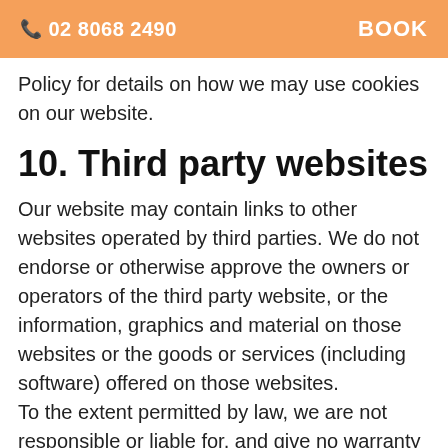📞 02 8068 2490   BOOK
Policy for details on how we may use cookies on our website.
10. Third party websites
Our website may contain links to other websites operated by third parties. We do not endorse or otherwise approve the owners or operators of the third party website, or the information, graphics and material on those websites or the goods or services (including software) offered on those websites.
To the extent permitted by law, we are not responsible or liable for, and give no warranty in respect of, any third party website or the goods and services (including software) offered on any third party website or any